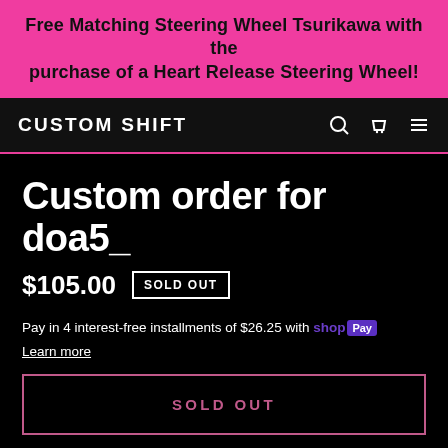Free Matching Steering Wheel Tsurikawa with the purchase of a Heart Release Steering Wheel!
CUSTOM SHIFT
Custom order for doa5_
$105.00  SOLD OUT
Pay in 4 interest-free installments of $26.25 with shop Pay
Learn more
SOLD OUT
Product Description: